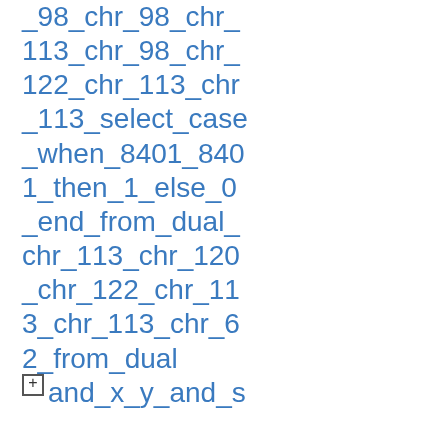_98_chr_98_chr_113_chr_98_chr_122_chr_113_chr_113_select_case_when_8401_8401_then_1_else_0_end_from_dual_chr_113_chr_120_chr_122_chr_113_chr_113_chr_62_from_dual + and_x_y_and_select_uhxd_uhxd_and_nczc_nczc_and_8401_select_upper_xmltype_chr_60_chr_58_chr_113_chr_98_chr_122_chr_113_chr_113_select_case_when_8401_840